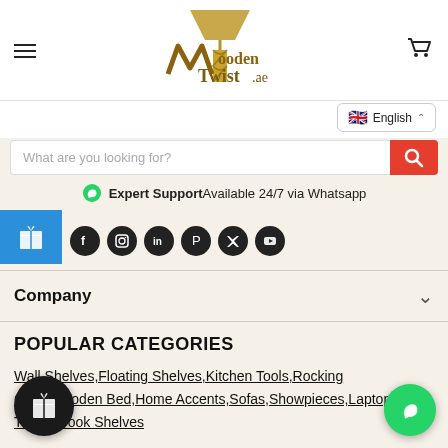[Figure (logo): WoodenTwist.ae logo with lamp icon and stylized W letterform in gold/brown tones]
English
What are you looking for?
Expert Support Available 24/7 via Whatsapp
Company
POPULAR CATEGORIES
Wall Shelves,Floating Shelves,Kitchen Tools,Rocking Chair,Wooden Bed,Home Accents,Sofas,Showpieces,Laptop Tables,Book Shelves